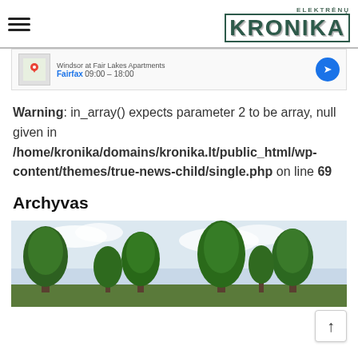ELEKTRĖNŲ KRONIKA
[Figure (screenshot): Google Maps ad banner showing Windsor at Fair Lakes Apartments, Fairfax 09:00 – 18:00 with map thumbnail and navigation arrow button]
Warning: in_array() expects parameter 2 to be array, null given in /home/kronika/domains/kronika.lt/public_html/wp-content/themes/true-news-child/single.php on line 69
Archyvas
[Figure (photo): Outdoor landscape photo showing tall green trees against a light cloudy sky]